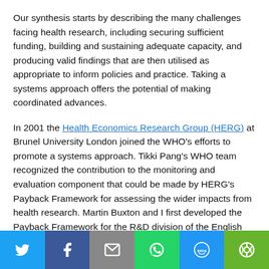Our synthesis starts by describing the many challenges facing health research, including securing sufficient funding, building and sustaining adequate capacity, and producing valid findings that are then utilised as appropriate to inform policies and practice. Taking a systems approach offers the potential of making coordinated advances.
In 2001 the Health Economics Research Group (HERG) at Brunel University London joined the WHO's efforts to promote a systems approach. Tikki Pang's WHO team recognized the contribution to the monitoring and evaluation component that could be made by HERG's Payback Framework for assessing the wider impacts from health research. Martin Buxton and I first developed the Payback Framework for the R&D division of the English Department of Health in the mid-1990s, but further
[Figure (infographic): Social share bar with six buttons: Twitter (blue), Facebook (dark blue), Email (grey), WhatsApp (green), SMS (blue), and More/share (green)]